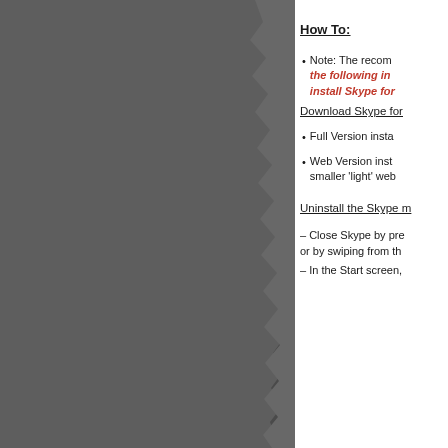[Figure (photo): Dark grey torn paper/background on left side of page]
How To:
Note: The recommended method is the following in order to install Skype for...
Download Skype for ...
Full Version insta...
Web Version inst... smaller 'light' web...
Uninstall the Skype m...
– Close Skype by pre... or by swiping from th...
– In the Start screen,...